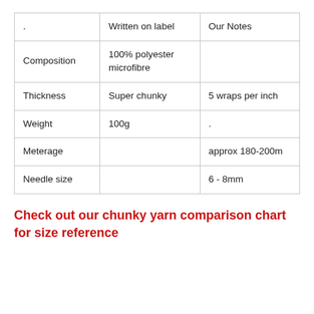| . | Written on label | Our Notes |
| --- | --- | --- |
| Composition | 100% polyester microfibre |  |
| Thickness | Super chunky | 5 wraps per inch |
| Weight | 100g | . |
| Meterage |  | approx 180-200m |
| Needle size |  | 6 - 8mm |
Check out our chunky yarn comparison chart for size reference